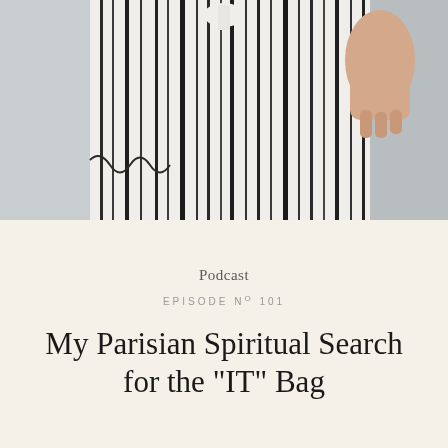[Figure (photo): Close-up photo of a person wearing a white and black striped dress or skirt, holding the fabric with one hand. The garment has vertical stripes and flowing fabric.]
Podcast
EPISODE № 101
My Parisian Spiritual Search for the "IT" Bag